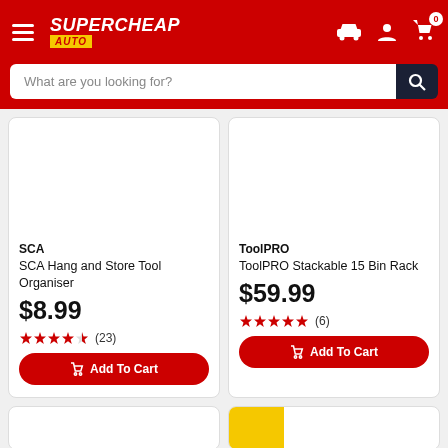[Figure (screenshot): Supercheap Auto website header with hamburger menu, logo, car/account/cart icons]
What are you looking for?
SCA
SCA Hang and Store Tool Organiser
$8.99
★★★★☆ (23)
ToolPRO
ToolPRO Stackable 15 Bin Rack
$59.99
★★★★★ (6)